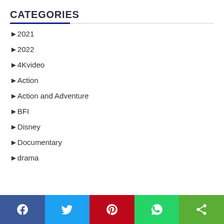CATEGORIES
2021
2022
4Kvideo
Action
Action and Adventure
BFI
Disney
Documentary
drama